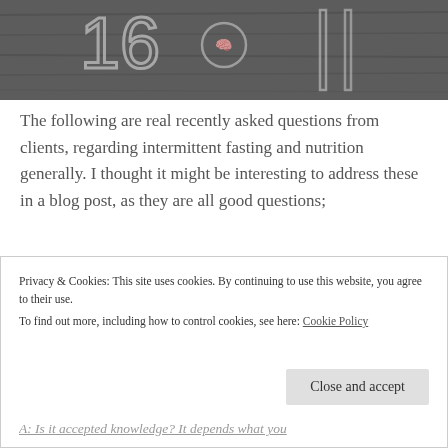[Figure (photo): Black and white chalkboard image with drawn/written figures, partially visible at top of page]
The following are real recently asked questions from clients, regarding intermittent fasting and nutrition generally. I thought it might be interesting to address these in a blog post, as they are all good questions;
Privacy & Cookies: This site uses cookies. By continuing to use this website, you agree to their use.
To find out more, including how to control cookies, see here: Cookie Policy
A: Is it accepted knowledge? It depends what you